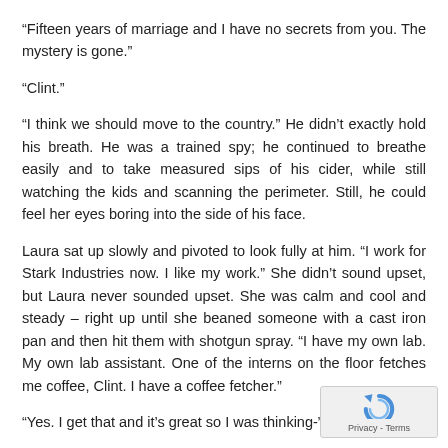“Fifteen years of marriage and I have no secrets from you. The mystery is gone.”
“Clint.”
“I think we should move to the country.” He didn’t exactly hold his breath. He was a trained spy; he continued to breathe easily and to take measured sips of his cider, while still watching the kids and scanning the perimeter. Still, he could feel her eyes boring into the side of his face.
Laura sat up slowly and pivoted to look fully at him. “I work for Stark Industries now. I like my work.” She didn’t sound upset, but Laura never sounded upset. She was calm and cool and steady – right up until she beaned someone with a cast iron pan and then hit them with shotgun spray. “I have my own lab. My own lab assistant. One of the interns on the floor fetches me coffee, Clint. I have a coffee fetcher.”
“Yes. I get that and it’s great so I was thinking-”
[Figure (logo): reCAPTCHA privacy badge with circular arrow icon and Privacy - Terms text]